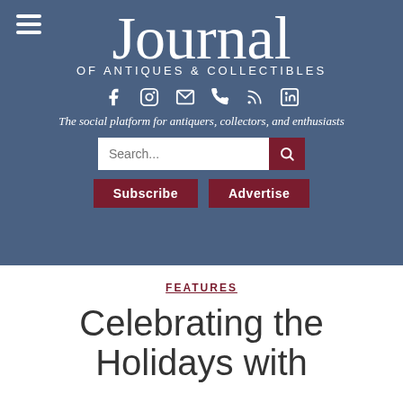Journal OF ANTIQUES & COLLECTIBLES
The social platform for antiquers, collectors, and enthusiasts
FEATURES
Celebrating the Holidays with